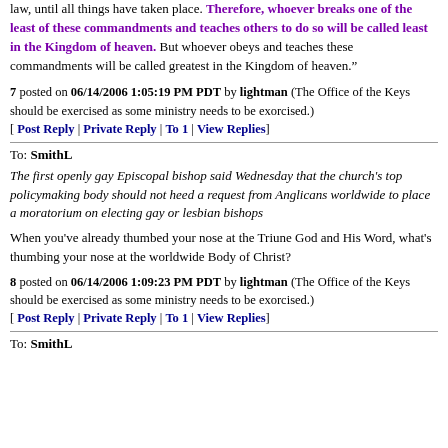law, until all things have taken place. Therefore, whoever breaks one of the least of these commandments and teaches others to do so will be called least in the Kingdom of heaven. But whoever obeys and teaches these commandments will be called greatest in the Kingdom of heaven.”
7 posted on 06/14/2006 1:05:19 PM PDT by lightman (The Office of the Keys should be exercised as some ministry needs to be exorcised.)
[ Post Reply | Private Reply | To 1 | View Replies]
To: SmithL
The first openly gay Episcopal bishop said Wednesday that the church's top policymaking body should not heed a request from Anglicans worldwide to place a moratorium on electing gay or lesbian bishops
When you've already thumbed your nose at the Triune God and His Word, what's thumbing your nose at the worldwide Body of Christ?
8 posted on 06/14/2006 1:09:23 PM PDT by lightman (The Office of the Keys should be exercised as some ministry needs to be exorcised.)
[ Post Reply | Private Reply | To 1 | View Replies]
To: SmithL